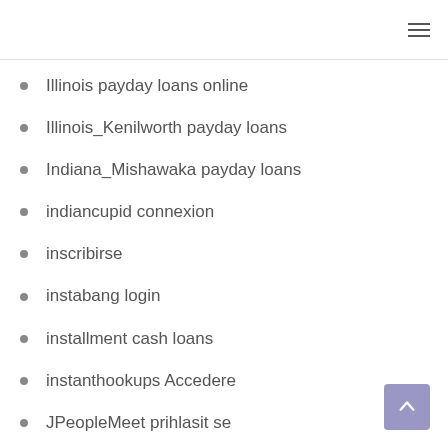Illinois payday loans online
Illinois_Kenilworth payday loans
Indiana_Mishawaka payday loans
indiancupid connexion
inscribirse
instabang login
installment cash loans
instanthookups Accedere
JPeopleMeet prihlasit se